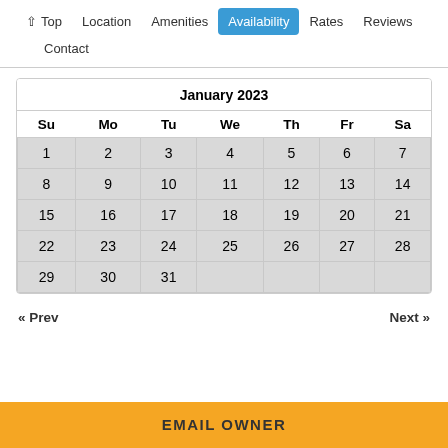↑ Top   Location   Amenities   Availability   Rates   Reviews   Contact
| Su | Mo | Tu | We | Th | Fr | Sa |
| --- | --- | --- | --- | --- | --- | --- |
| 1 | 2 | 3 | 4 | 5 | 6 | 7 |
| 8 | 9 | 10 | 11 | 12 | 13 | 14 |
| 15 | 16 | 17 | 18 | 19 | 20 | 21 |
| 22 | 23 | 24 | 25 | 26 | 27 | 28 |
| 29 | 30 | 31 |  |  |  |  |
« Prev    Next »
EMAIL OWNER